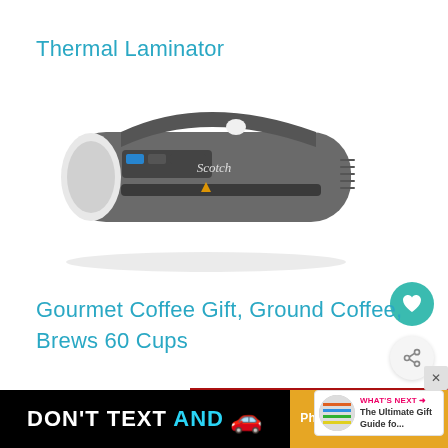Thermal Laminator
[Figure (photo): Scotch brand thermal laminator machine, gray color, front-facing view showing document feed slot]
Gourmet Coffee Gift, Ground Coffee, Brews 60 Cups
[Figure (photo): Red bag of gourmet ground coffee, partially visible]
[Figure (infographic): What's Next panel showing The Ultimate Gift Guide fo...]
[Figure (infographic): Bottom ad banner: DON'T TEXT AND [car icon] with Physical Ed Curriculum on orange-yellow right panel]